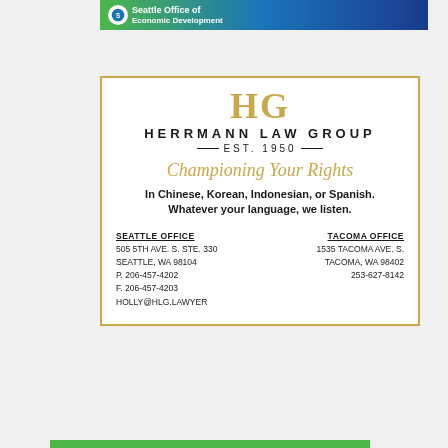[Figure (logo): Seattle Office of Economic Development logo banner with green-to-blue gradient background]
[Figure (infographic): Herrmann Law Group advertisement with HG logo, EST. 1950, tagline 'Championing Your Rights', multilingual services notice, and Seattle/Tacoma office contact info]
[Figure (infographic): Join the Solid Waste Advisory Committee advertisement on dark navy background with recycling bin icon]